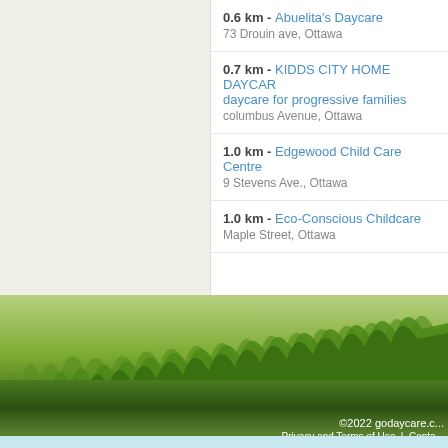0.6 km - Abuelita's Daycare
73 Drouin ave, Ottawa
0.7 km - KIDDS CITY HOME DAYCARE daycare for progressive families
columbus Avenue, Ottawa
1.0 km - Edgewood Child Care Centre
9 Stevens Ave., Ottawa
1.0 km - Eco-Conscious Childcare
Maple Street, Ottawa
[Figure (illustration): Green grass illustration at the bottom of the page with layered grass blades in various shades of green and brown]
©2022 godaycare.c...
Privacy and Terms of Use  |  Conta...